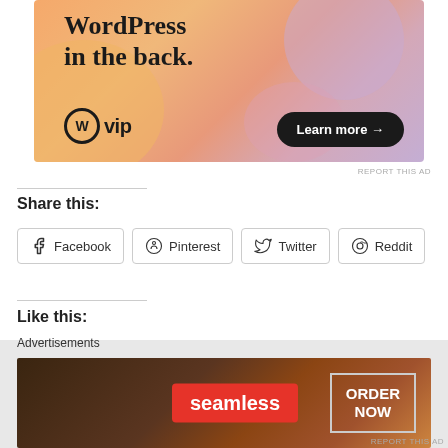[Figure (illustration): WordPress VIP advertisement banner with colorful gradient background (orange, pink, purple blobs). Text reads 'WordPress in the back.' with WordPress VIP logo and 'Learn more →' button.]
REPORT THIS AD
Share this:
Facebook  Pinterest  Twitter  Reddit
Like this:
Loading...
Advertisements
[Figure (illustration): Seamless food delivery advertisement showing pizza slices on dark background with Seamless logo and ORDER NOW button.]